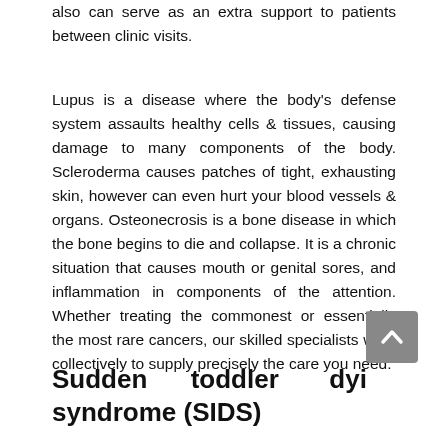also can serve as an extra support to patients between clinic visits.
Lupus is a disease where the body's defense system assaults healthy cells & tissues, causing damage to many components of the body. Scleroderma causes patches of tight, exhausting skin, however can even hurt your blood vessels & organs. Osteonecrosis is a bone disease in which the bone begins to die and collapse. It is a chronic situation that causes mouth or genital sores, and inflammation in components of the attention. Whether treating the commonest or essentially the most rare cancers, our skilled specialists work collectively to supply precisely the care you need.
Sudden toddler dying syndrome (SIDS)